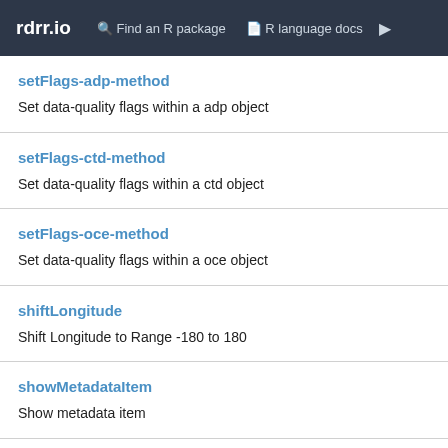rdrr.io   Find an R package   R language docs
setFlags-adp-method
Set data-quality flags within a adp object
setFlags-ctd-method
Set data-quality flags within a ctd object
setFlags-oce-method
Set data-quality flags within a oce object
shiftLongitude
Shift Longitude to Range -180 to 180
showMetadataItem
Show metadata item